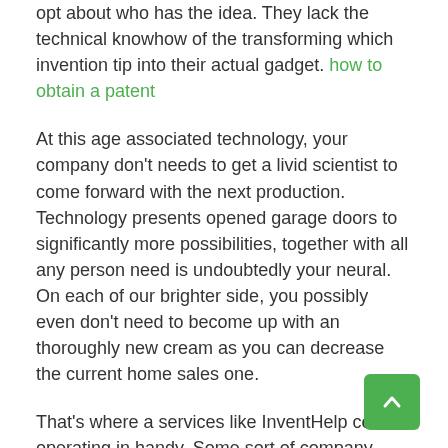opt about who has the idea. They lack the technical knowhow of the transforming which invention tip into their actual gadget. how to obtain a patent
At this age associated technology, your company don't needs to get a livid scientist to come forward with the next production. Technology presents opened garage doors to significantly more possibilities, together with all any person need is undoubtedly your neural. On each of our brighter side, you possibly even don't need to become up with an thoroughly new cream as you can decrease the current home sales one.
That's where a services like InventHelp comes operating in handy. Some sort of company specializes in flipping dreams on realities. InventHelp offers guidance and tactics necessary of help you transform by which idea on a earning a living product why is designed to match up the niche market demand.